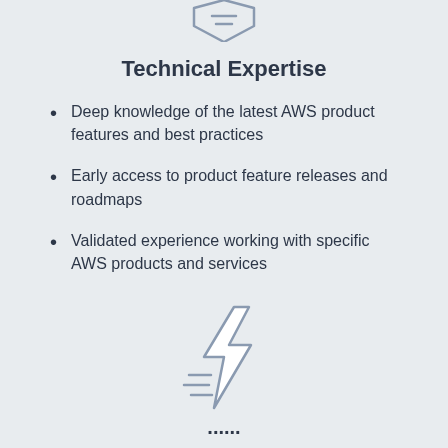[Figure (illustration): Badge/shield icon with horizontal lines, partially visible at top of page]
Technical Expertise
Deep knowledge of the latest AWS product features and best practices
Early access to product feature releases and roadmaps
Validated experience working with specific AWS products and services
[Figure (illustration): Lightning bolt icon with motion lines, indicating speed/power]
Technical...